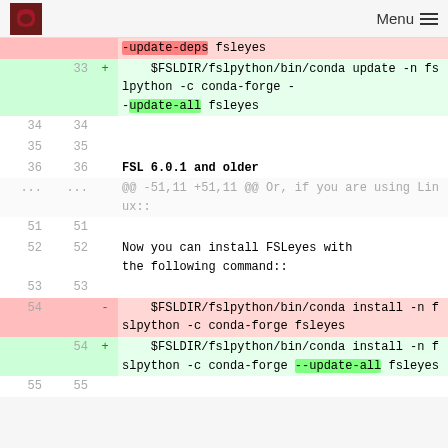Menu
| old | new | sign | code |
| --- | --- | --- | --- |
|  |  |  | -update-deps fsleyes |
|  | 33 | + |     $FSLDIR/fslpython/bin/conda update -n fslpython -c conda-forge --update-all fsleyes |
| 34 | 34 |  |  |
| 35 | 35 |  |  |
| 36 | 36 |  | FSL 6.0.1 and older |
| ... | ... |  | @@ -51,11 +51,11 @@ Or, if you are using Linux:: |
| 51 | 51 |  |  |
| 52 | 52 |  | Now you can install FSLeyes with the following command:: |
| 53 | 53 |  |  |
| 54 |  | - |     $FSLDIR/fslpython/bin/conda install -n fslpython -c conda-forge fsleyes |
|  | 54 | + |     $FSLDIR/fslpython/bin/conda install -n fslpython -c conda-forge --update-all fsleyes |
| 55 | 55 |  |  |